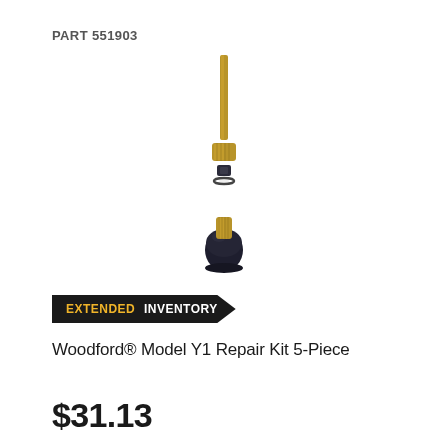PART 551903
[Figure (photo): Exploded view of a Woodford Model Y1 Repair Kit 5-Piece showing brass rod/stem at top, brass fitting, small black rubber washer, thin gasket ring, and a black rubber piston assembly with brass cap at bottom, arranged vertically on white background.]
EXTENDED INVENTORY
Woodford® Model Y1 Repair Kit 5-Piece
$31.13